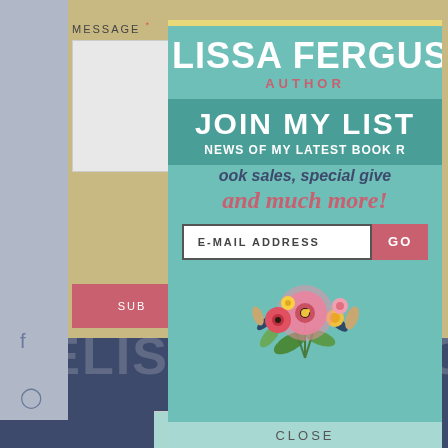[Figure (screenshot): Background website page showing MESSAGE label, text area, submit button, social icons (Facebook, Instagram, TikTok, Goodreads), navy bottom bar with large semi-transparent MELISSA FERGUSON text, and a CLOSE button at bottom]
LISSA FERGUS
AUTHOR
JOIN MY LIST
NEWS OF MY LATEST BOOK R
ook sales, special give
and much more!
E-MAIL ADDRESS
GO
[Figure (illustration): Floral illustration with pink, red, and yellow flowers with green and blue leaves]
CLOSE